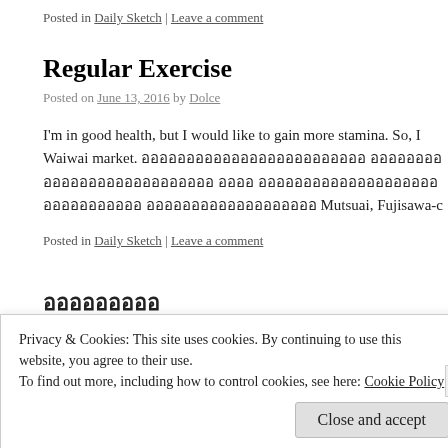Posted in Daily Sketch | Leave a comment
Regular Exercise
Posted on June 13, 2016 by Dolce
I'm in good health, but I would like to gain more stamina. So, I Waiwai market. [Japanese text] Mutsuai, Fujisawa-c [Japanese text]
Posted in Daily Sketch | Leave a comment
[Japanese characters]
Posted on June 12, 2016 by Dolce
Privacy & Cookies: This site uses cookies. By continuing to use this website, you agree to their use.
To find out more, including how to control cookies, see here: Cookie Policy
Close and accept